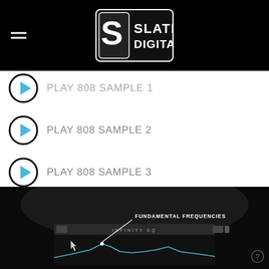Slate Digital
PLAY 808 SAMPLE 1
PLAY 808 SAMPLE 2
PLAY 808 SAMPLE 3
PLAY 808 SAMPLE 4
[Figure (screenshot): Screenshot of Slate Digital Infinity EQ plugin showing 'FUNDAMENTAL FREQUENCIES' label with an arrow pointing to a frequency curve on a dark background EQ display.]